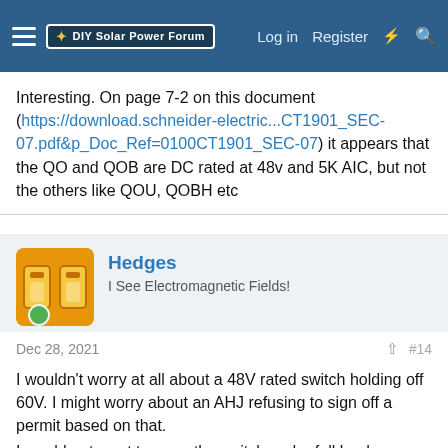DIY Solar Power Forum — Log in | Register
Interesting. On page 7-2 on this document (https://download.schneider-electric...CT1901_SEC-07.pdf&p_Doc_Ref=0100CT1901_SEC-07) it appears that the QO and QOB are DC rated at 48v and 5K AIC, but not the others like QOU, QOBH etc
Hedges
I See Electromagnetic Fields!
Dec 28, 2021  #14
I wouldn't worry at all about a 48V rated switch holding off 60V. I might worry about an AHJ refusing to sign off a permit based on that.
I would not want to open the switch under full load.
As people have pointed out, the only apparent issue is access to > 50VDC by the lay person.